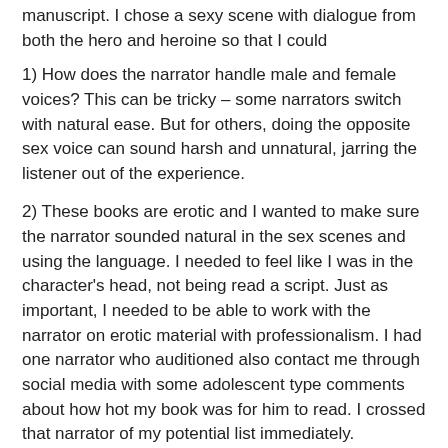manuscript. I chose a sexy scene with dialogue from both the hero and heroine so that I could
1) How does the narrator handle male and female voices? This can be tricky – some narrators switch with natural ease. But for others, doing the opposite sex voice can sound harsh and unnatural, jarring the listener out of the experience.
2) These books are erotic and I wanted to make sure the narrator sounded natural in the sex scenes and using the language. I needed to feel like I was in the character's head, not being read a script. Just as important, I needed to be able to work with the narrator on erotic material with professionalism. I had one narrator who auditioned also contact me through social media with some adolescent type comments about how hot my book was for him to read. I crossed that narrator of my potential list immediately.
3) Performance Quality. The narrator I chose, Ryan Hudson, is an actor who has appeared in movies and done voiceovers for commercials (under another name). He did a good job of interpreting the story while in the character's